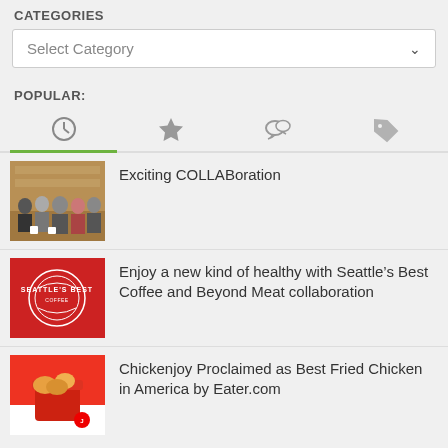CATEGORIES
Select Category
POPULAR:
[Figure (other): Tab bar with four icons: clock (active, underlined in green), star, speech bubbles, tag]
[Figure (photo): Group of people posing in a restaurant setting]
Exciting COLLABoration
[Figure (logo): Seattle's Best Coffee red logo on red background]
Enjoy a new kind of healthy with Seattle’s Best Coffee and Beyond Meat collaboration
[Figure (photo): Fried chicken in a bucket on a red and white background]
Chickenjoy Proclaimed as Best Fried Chicken in America by Eater.com